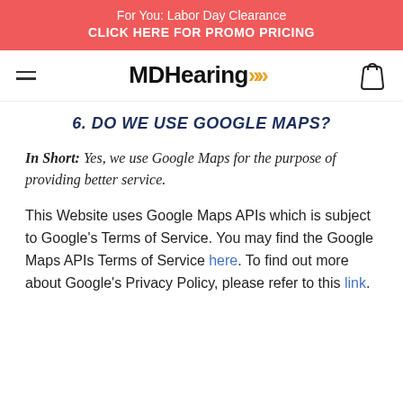For You: Labor Day Clearance CLICK HERE FOR PROMO PRICING
[Figure (logo): MDHearing logo with orange chevrons and shopping bag icon]
6. DO WE USE GOOGLE MAPS?
In Short: Yes, we use Google Maps for the purpose of providing better service.
This Website uses Google Maps APIs which is subject to Google's Terms of Service. You may find the Google Maps APIs Terms of Service here. To find out more about Google's Privacy Policy, please refer to this link.